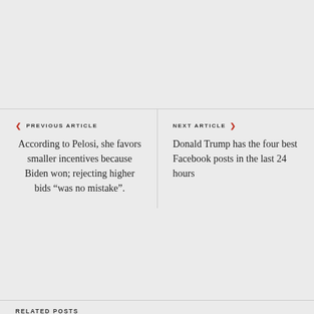PREVIOUS ARTICLE
According to Pelosi, she favors smaller incentives because Biden won; rejecting higher bids “was no mistake”.
NEXT ARTICLE
Donald Trump has the four best Facebook posts in the last 24 hours
RELATED POSTS